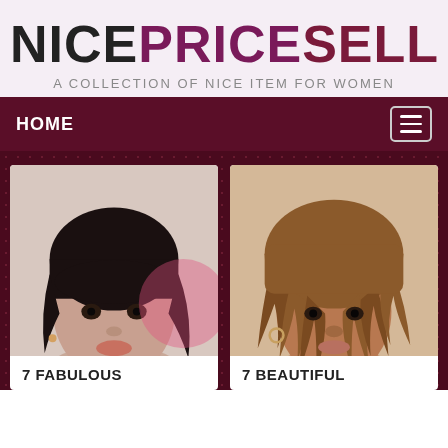NICEPRICESELL
A COLLECTION OF NICE ITEM FOR WOMEN
HOME
[Figure (photo): Portrait photo of a woman with short black hair and bangs]
7 FABULOUS
[Figure (photo): Portrait photo of a woman with brown braided/dreadlocked hair]
7 BEAUTIFUL